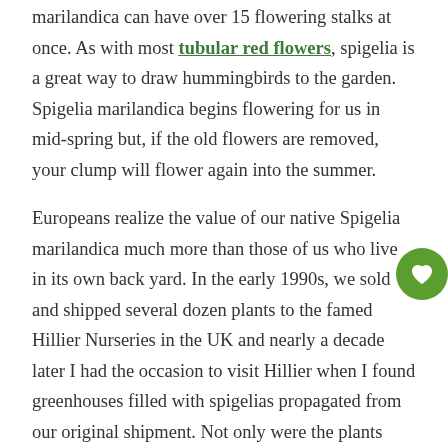marilandica can have over 15 flowering stalks at once. As with most tubular red flowers, spigelia is a great way to draw hummingbirds to the garden. Spigelia marilandica begins flowering for us in mid-spring but, if the old flowers are removed, your clump will flower again into the summer.
Europeans realize the value of our native Spigelia marilandica much more than those of us who live in its own back yard. In the early 1990s, we sold and shipped several dozen plants to the famed Hillier Nurseries in the UK and nearly a decade later I had the occasion to visit Hillier when I found greenhouses filled with spigelias propagated from our original shipment. Not only were the plants prospering, but their annual spigelia sales top 2 million plants...more than have sold in the history of their cultivation in the US. Propagation has proven easy via cuttings, although spigelia plants must be rooted early in the season or they won't form an underground growth bud and, consequently, won't return